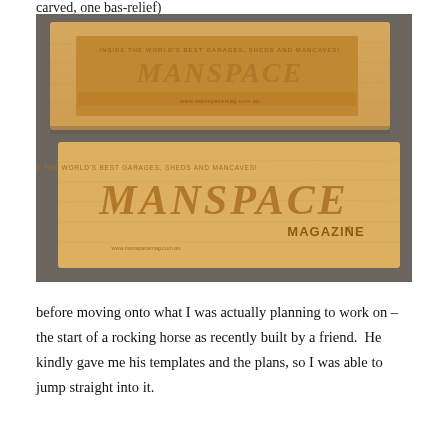carved, one bas-relief)
[Figure (photo): Two wooden boards with the MANSPACE MAGAZINE logo carved/engraved into them. The top board shows a deeper bas-relief carving, and the bottom board shows a shallower carved version. Text reads: INSIDE THE WORLD'S BEST GARAGES, SHEDS AND MANCAVES! MANSPACE MAGAZINE]
before moving onto what I was actually planning to work on – the start of a rocking horse as recently built by a friend.  He kindly gave me his templates and the plans, so I was able to jump straight into it.